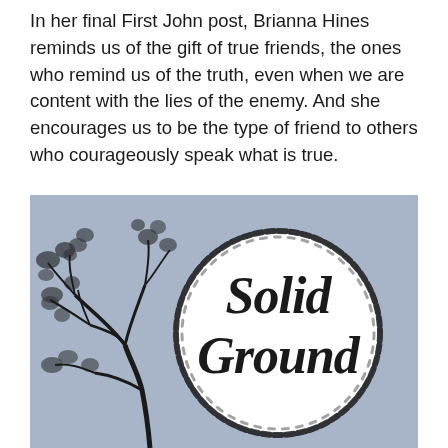In her final First John post, Brianna Hines reminds us of the gift of true friends, the ones who remind us of the truth, even when we are content with the lies of the enemy. And she encourages us to be the type of friend to others who courageously speak what is true.
[Figure (logo): Solid Ground logo on a blue-grey background. A hand-drawn tree on the left side and a circular brush-stroke ring on the right containing the text 'Solid Ground' in black script lettering.]